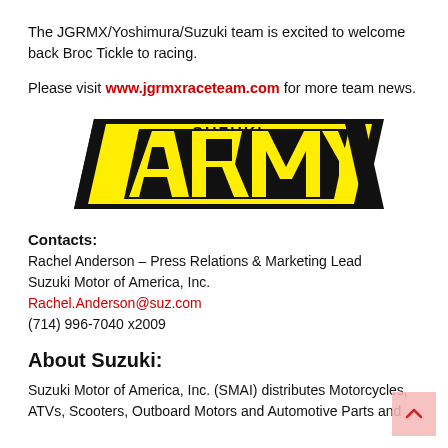The JGRMX/Yoshimura/Suzuki team is excited to welcome back Broc Tickle to racing.
Please visit www.jgrmxraceteam.com for more team news.
[Figure (logo): Suzuki Army logo — stylized yellow and black diagonal text reading ARMY with SUZUKI above it]
Contacts:
Rachel Anderson – Press Relations & Marketing Lead
Suzuki Motor of America, Inc.
Rachel.Anderson@suz.com
(714) 996-7040 x2009
About Suzuki:
Suzuki Motor of America, Inc. (SMAI) distributes Motorcycles, ATVs, Scooters, Outboard Motors and Automotive Parts and